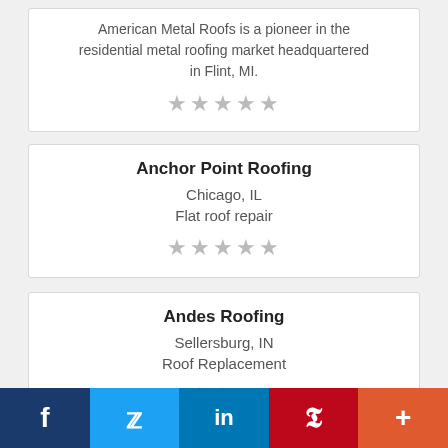American Metal Roofs is a pioneer in the residential metal roofing market headquartered in Flint, MI.
★★★★★
Anchor Point Roofing
Chicago, IL
Flat roof repair
★★★★★
Andes Roofing
Sellersburg, IN
Roof Replacement
★★★★★
f  🐦  in  P  +